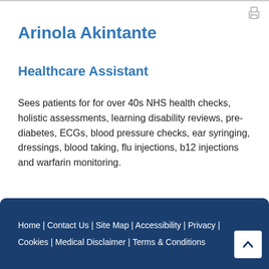Arinola Akintante
Healthcare Assistant
Sees patients for for over 40s NHS health checks, holistic assessments, learning disability reviews, pre-diabetes, ECGs, blood pressure checks, ear syringing, dressings, blood taking, flu injections, b12 injections and warfarin monitoring.
Home | Contact Us | Site Map | Accessibility | Privacy | Cookies | Medical Disclaimer | Terms & Conditions